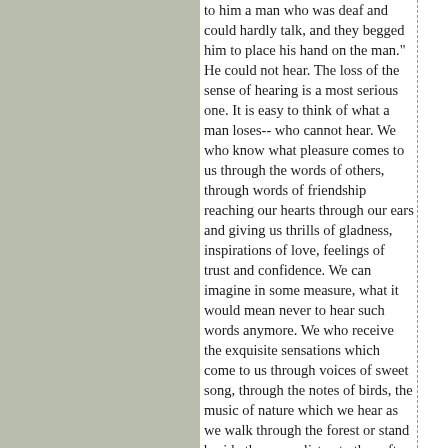to him a man who was deaf and could hardly talk, and they begged him to place his hand on the man." He could not hear. The loss of the sense of hearing is a most serious one. It is easy to think of what a man loses-- who cannot hear. We who know what pleasure comes to us through the words of others, through words of friendship reaching our hearts through our ears and giving us thrills of gladness, inspirations of love, feelings of trust and confidence. We can imagine in some measure, what it would mean never to hear such words anymore. We who receive the exquisite sensations which come to us through voices of sweet song, through the notes of birds, the music of nature which we hear as we walk through the forest or stand beside the sea or listen to the soft breezes and the wild roar of the storm--can understand a little what we would miss if